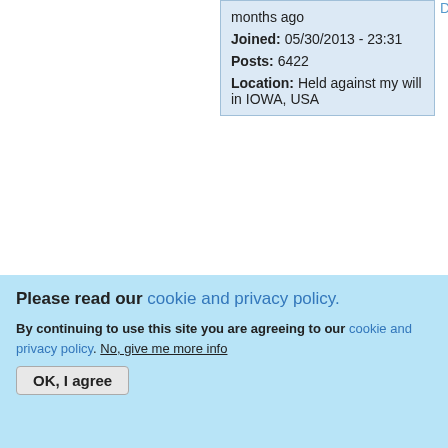months ago
Joined: 05/30/2013 - 23:31
Posts: 6422
Location: Held against my will in IOWA, USA
Driver
Top
Tue, 08/25/2015 - 16:24
djozz
[Figure (photo): A glowing incandescent light bulb photographed against a red/pink background]
pi if i 40
Please read our cookie and privacy policy.
By continuing to use this site you are agreeing to our cookie and privacy policy. No, give me more info
OK, I agree